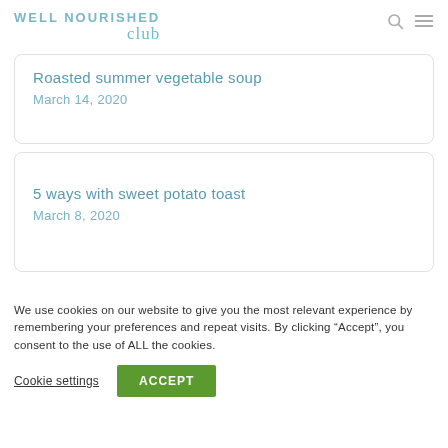WELL NOURISHED club
Roasted summer vegetable soup
March 14, 2020
5 ways with sweet potato toast
March 8, 2020
We use cookies on our website to give you the most relevant experience by remembering your preferences and repeat visits. By clicking “Accept”, you consent to the use of ALL the cookies.
Cookie settings  ACCEPT